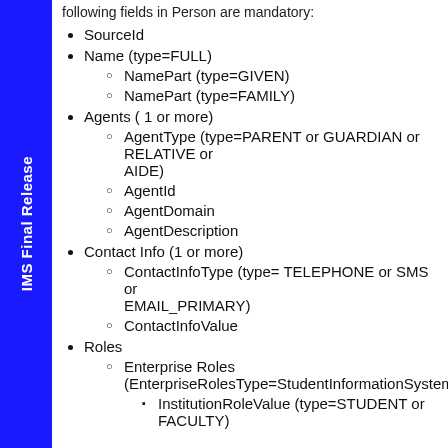IMS Final Release
following fields in Person are mandatory:
SourceId
Name (type=FULL)
NamePart (type=GIVEN)
NamePart (type=FAMILY)
Agents ( 1 or more)
AgentType (type=PARENT or GUARDIAN or RELATIVE or AIDE)
AgentId
AgentDomain
AgentDescription
Contact Info (1 or more)
ContactInfoType (type= TELEPHONE or SMS or EMAIL_PRIMARY)
ContactInfoValue
Roles
Enterprise Roles (EnterpriseRolesType=StudentInformationSystem)
InstitutionRoleValue (type=STUDENT or FACULTY)